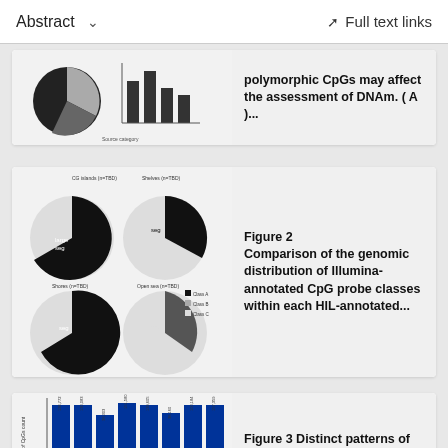Abstract   Full text links
[Figure (other): Partial figure showing pie chart and bar chart related to polymorphic CpGs and DNAm assessment]
polymorphic CpGs may affect the assessment of DNAm. ( A )...
[Figure (pie-chart): Four pie charts comparing genomic distribution of Illumina-annotated CpG probe classes within each HIL-annotated region]
Figure 2 Comparison of the genomic distribution of Illumina-annotated CpG probe classes within each HIL-annotated...
[Figure (bar-chart): Stacked bar chart showing distinct patterns of DNAm within CpG, partially visible at bottom]
Figure 3 Distinct patterns of DNAm within CpG